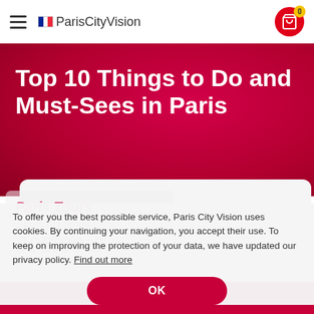ParisCityVision
Top 10 Things to Do and Must-Sees in Paris
Paris Tours
Starting from
395.00 €
To offer you the best possible service, Paris City Vision uses cookies. By continuing your navigation, you accept their use. To keep on improving the protection of your data, we have updated our privacy policy. Find out more
OK
Find out more